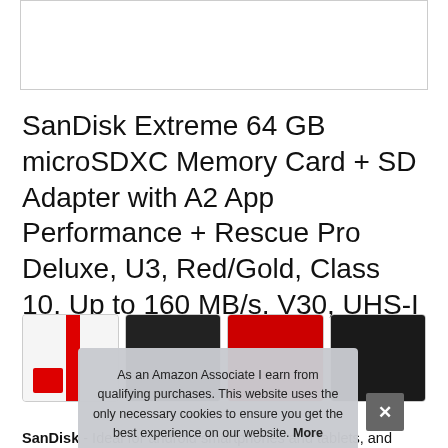[Figure (photo): Product image placeholder (white box with border)]
SanDisk Extreme 64 GB microSDXC Memory Card + SD Adapter with A2 App Performance + Rescue Pro Deluxe, U3, Red/Gold, Class 10, Up to 160 MB/s, V30, UHS-I
[Figure (photo): Row of four product thumbnail images showing the SanDisk memory card from different angles and in use]
As an Amazon Associate I earn from qualifying purchases. This website uses the only necessary cookies to ensure you get the best experience on our website. More information
SanDisk - Ideal for android smartphones and tablets, and